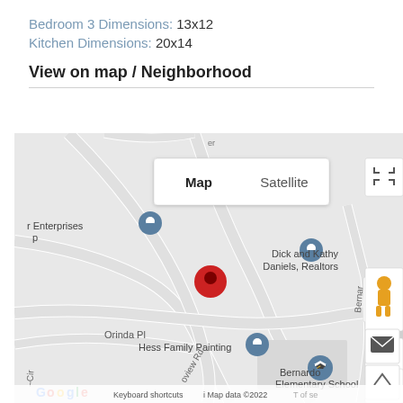Bedroom 3 Dimensions: 13x12
Kitchen Dimensions: 20x14
View on map / Neighborhood
[Figure (map): Google Maps view showing neighborhood with red location pin, nearby labels: er Enterprises, Dick and Kathy Daniels Realtors, Hess Family Painting, Bernardo Elementary School, Orinda Pl, Bernar, Oak. Controls: Map/Satellite toggle, fullscreen button, street view pegman, zoom in/out, and Google logo with Keyboard shortcuts and Map data 2022 attribution.]